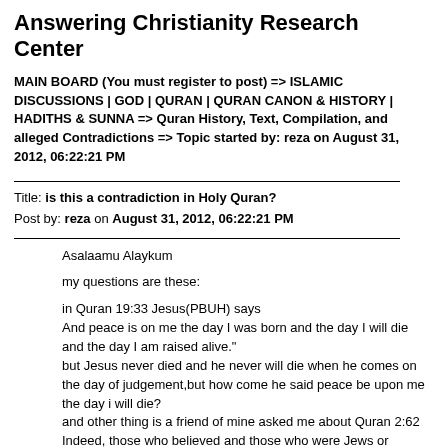Answering Christianity Research Center
MAIN BOARD (You must register to post) => ISLAMIC DISCUSSIONS | GOD | QURAN | QURAN CANON & HISTORY | HADITHS & SUNNA => Quran History, Text, Compilation, and alleged Contradictions => Topic started by: reza on August 31, 2012, 06:22:21 PM
Title: is this a contradiction in Holy Quran?
Post by: reza on August 31, 2012, 06:22:21 PM
Asalaamu Alaykum

my questions are these:

in Quran 19:33 Jesus(PBUH) says
And peace is on me the day I was born and the day I will die and the day I am raised alive."
but Jesus never died and he never will die when he comes on the day of judgement,but how come he said peace be upon me the day i will die?
and other thing is a friend of mine asked me about Quran 2:62
Indeed, those who believed and those who were Jews or Christians or Sabeans [before Prophet Muhammad] - those [among them] who believed in Allah and the Last Day and did righteousness - will have their reward with their Lord, and no fear will there be concerning them, nor will they grieve.
and in 3:85 it says